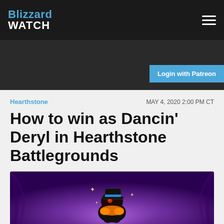Blizzard Watch
Login with Patreon
Hearthstone   MAY 4, 2020 2:00 PM CT
How to win as Dancin' Deryl in Hearthstone Battlegrounds
By Phil Xavier @harmonicstrike
[Figure (illustration): Dancin' Deryl character from Hearthstone Battlegrounds — a small creature with a top hat on a purple spotlight background]